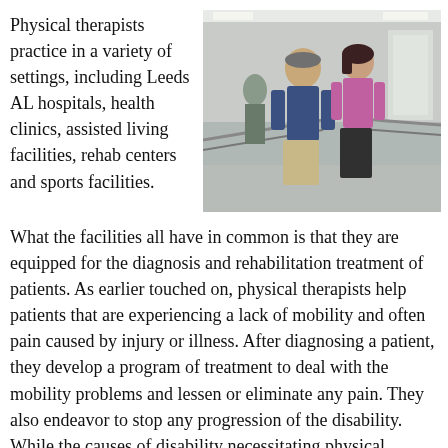Physical therapists practice in a variety of settings, including Leeds AL hospitals, health clinics, assisted living facilities, rehab centers and sports facilities.
[Figure (photo): A physical therapist walking alongside a female patient in a rehabilitation facility hallway with parallel handrails. The therapist is a middle-aged man in a dark blue shirt and khaki pants. The patient is a young woman in a purple tank top and dark pants. Other people are visible in the background.]
What the facilities all have in common is that they are equipped for the diagnosis and rehabilitation treatment of patients. As earlier touched on, physical therapists help patients that are experiencing a lack of mobility and often pain caused by injury or illness. After diagnosing a patient, they develop a program of treatment to deal with the mobility problems and lessen or eliminate any pain. They also endeavor to stop any progression of the disability. While the causes of disability necessitating physical therapy are